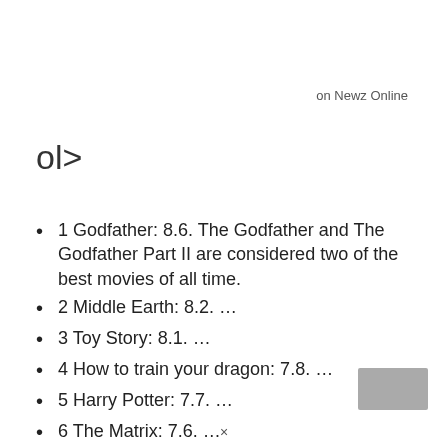on Newz Online
ol>
1 Godfather: 8.6. The Godfather and The Godfather Part II are considered two of the best movies of all time.
2 Middle Earth: 8.2. ...
3 Toy Story: 8.1. ...
4 How to train your dragon: 7.8. ...
5 Harry Potter: 7.7. ...
6 The Matrix: 7.6. ...
7 Indiana Jones: 7.6. ...